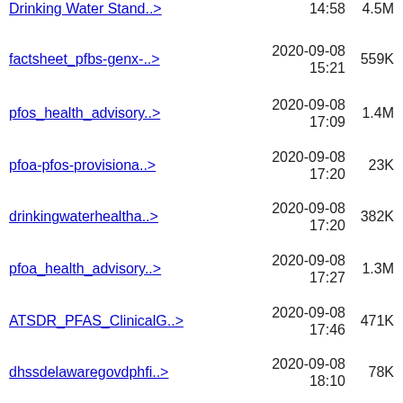factsheet_pfbs-genx-..>   2020-09-08 15:21   559K
pfos_health_advisory..>   2020-09-08 17:09   1.4M
pfoa-pfos-provisiona..>   2020-09-08 17:20   23K
drinkingwaterhealtha..>   2020-09-08 17:20   382K
pfoa_health_advisory..>   2020-09-08 17:27   1.3M
ATSDR_PFAS_ClinicalG..>   2020-09-08 17:46   471K
dhssdelawaregovdphfi..>   2020-09-08 18:10   78K
Rusydi_2018_IOP_Conf..>   2020-09-09 08:55   627K
Total-Dissolved-Soli..>   2020-09-09 08:58   25K
mtbe.PDF   2020-09-09 09:17   923K
earwigsinwell.pdf   2020-09-09 13:54   103K